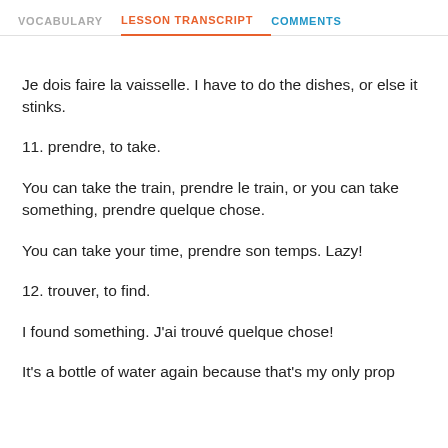VOCABULARY | LESSON TRANSCRIPT | COMMENTS
Je dois faire la vaisselle. I have to do the dishes, or else it stinks.
11. prendre, to take.
You can take the train, prendre le train, or you can take something, prendre quelque chose.
You can take your time, prendre son temps. Lazy!
12. trouver, to find.
I found something. J'ai trouvé quelque chose!
It's a bottle of water again because that's my only prop